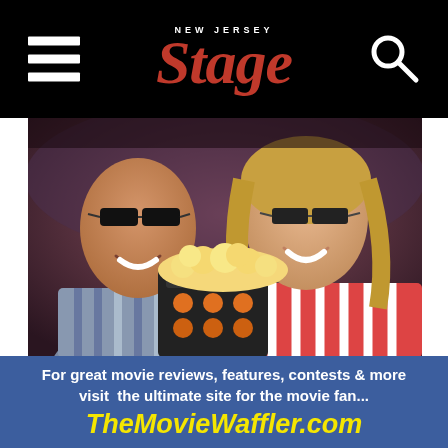NEW JERSEY Stage
[Figure (photo): A man and woman wearing 3D glasses sitting in a movie theater, smiling, the woman holding a large bucket of popcorn]
For great movie reviews, features, contests & more visit  the ultimate site for the movie fan...
TheMovieWaffler.com